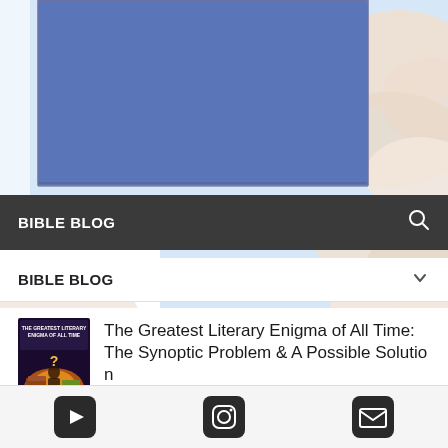[Figure (screenshot): A blue rectangle (hero/banner image area) overlaid on a background of clouds and sky. The blue rectangle takes up the top center portion of the image.]
BIBLE BLOG
BIBLE BLOG
[Figure (photo): Book cover thumbnail for 'The Greatest Literary Enigma of All Time' showing a dramatic scene with books, fire, and a figure.]
The Greatest Literary Enigma of All Time: The Synoptic Problem & A Possible Solutio...
YouTube | Instagram | Email icons